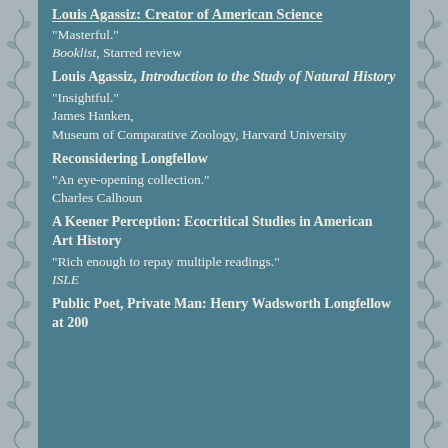Louis Agassiz: Creator of American Science
"Masterful."
Booklist, Starred review
Louis Agassiz, Introduction to the Study of Natural History
"Insightful."
James Hanken,
Museum of Comparative Zoology, Harvard University
Reconsidering Longfellow
"An eye-opening collection."
Charles Calhoun
A Keener Perception: Ecocritical Studies in American Art History
"Rich enough to repay multiple readings."
ISLE
Public Poet, Private Man: Henry Wadsworth Longfellow at 200